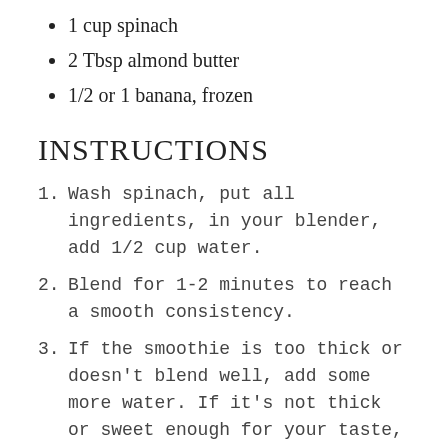1 cup spinach
2 Tbsp almond butter
1/2 or 1 banana, frozen
INSTRUCTIONS
1. Wash spinach, put all ingredients, in your blender, add 1/2 cup water.
2. Blend for 1-2 minutes to reach a smooth consistency.
3. If the smoothie is too thick or doesn't blend well, add some more water. If it's not thick or sweet enough for your taste, add more banana. I used 1/2 frozen banana and was happy with the consistency and sweetness